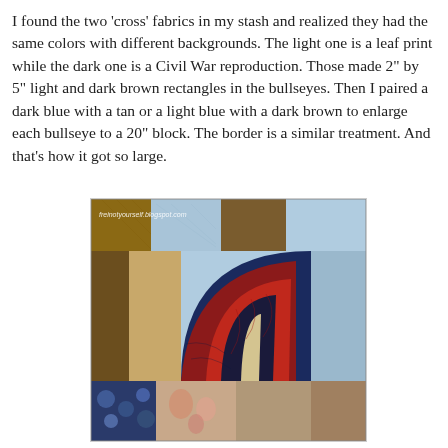I found the two 'cross' fabrics in my stash and realized they had the same colors with different backgrounds. The light one is a leaf print while the dark one is a Civil War reproduction. Those made 2" by 5" light and dark brown rectangles in the bullseyes. Then I paired a dark blue with a tan or a light blue with a dark brown to enlarge each bullseye to a 20" block. The border is a similar treatment. And that's how it got so large.
[Figure (photo): Close-up photo of a quilt showing a bullseye/fan block pattern with fabrics in light blue, brown/tan, red, dark blue/navy, cream, and green. The quilt has a curved fan or Dresden plate block visible in the center-right area, surrounded by rectangular patchwork pieces. A watermark reading 'freinotyourself.blogspot.com' is visible in the upper left of the photo.]